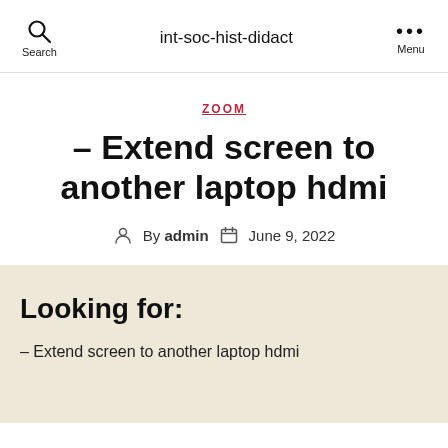int-soc-hist-didact
ZOOM
– Extend screen to another laptop hdmi
By admin  June 9, 2022
Looking for:
– Extend screen to another laptop hdmi